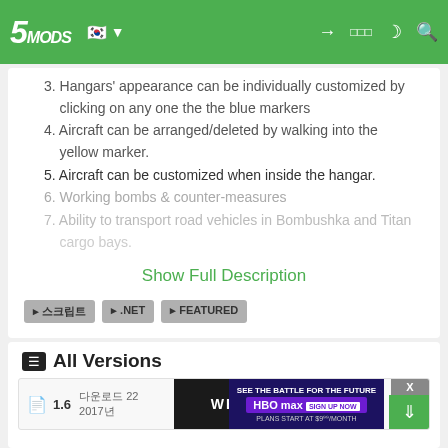5MODS navigation bar
3. Hangars' appearance can be individually customized by clicking on any one the the blue markers
4. Aircraft can be arranged/deleted by walking into the yellow marker.
5. Aircraft can be customized when inside the hangar.
6. Working bombs & counter-measures
7. Ability to transport road vehicles in Bombushka and Titan cargo bays.
Show Full Description
Tags: 스크립트 .NET FEATURED
최초 업로드: 2017년 10월 17일 (화)
마지막 업데이트: 2017년 12월 11일 (월)
마지막 다운로드: 4일이 전
All Versions
1.6 ... 다운로드 22 ... 2017년